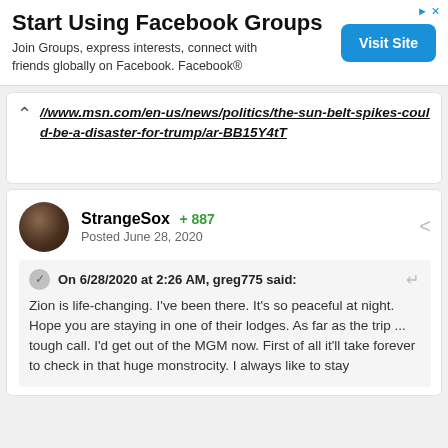[Figure (other): Advertisement banner: 'Start Using Facebook Groups' with 'Visit Site' button]
//www.msn.com/en-us/news/politics/the-sun-belt-spikes-could-be-a-disaster-for-trump/ar-BB15Y4tT
StrangeSox  887  Posted June 28, 2020
On 6/28/2020 at 2:26 AM, greg775 said:
Zion is life-changing. I've been there. It's so peaceful at night. Hope you are staying in one of their lodges. As far as the trip ... tough call. I'd get out of the MGM now. First of all it'll take forever to check in that huge monstrocity. I always like to stay